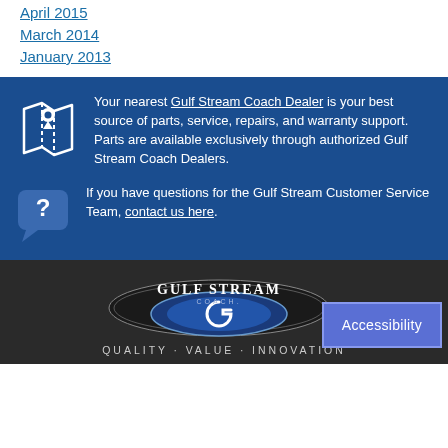April 2015
March 2014
January 2013
Your nearest Gulf Stream Coach Dealer is your best source of parts, service, repairs, and warranty support. Parts are available exclusively through authorized Gulf Stream Coach Dealers.
If you have questions for the Gulf Stream Customer Service Team, contact us here.
[Figure (logo): Gulf Stream Coach logo with oval emblem and tagline QUALITY · VALUE · INNOVATION]
Accessibility